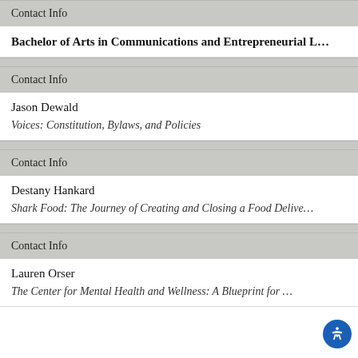Contact Info
Bachelor of Arts in Communications and Entrepreneurial L…
Contact Info
Jason Dewald
Voices: Constitution, Bylaws, and Policies
Contact Info
Destany Hankard
Shark Food: The Journey of Creating and Closing a Food Delive…
Contact Info
Lauren Orser
The Center for Mental Health and Wellness: A Blueprint for …